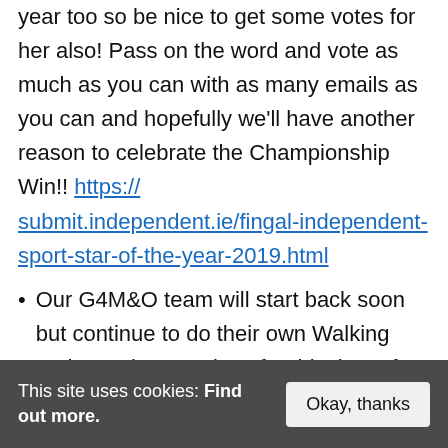local Boxing hero, is up for Sports Star of the year too so be nice to get some votes for her also! Pass on the word and vote as much as you can with as many emails as you can and hopefully we'll have another reason to celebrate the Championship Win!! https://submit.independent.ie/fingal-independent-sport-star-of-the-year-2019.html
Our G4M&O team will start back soon but continue to do their own Walking and Running Routines for this time of year. New
This site uses cookies: Find out more. Okay, thanks